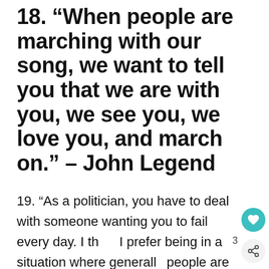18. “When people are marching with our song, we want to tell you that we are with you, we see you, we love you, and march on.” – John Legend
19. “As a politician, you have to deal with someone wanting you to fail every day. I th… I prefer being in a situation where generall… people are rooting for me, and if they aren’t…